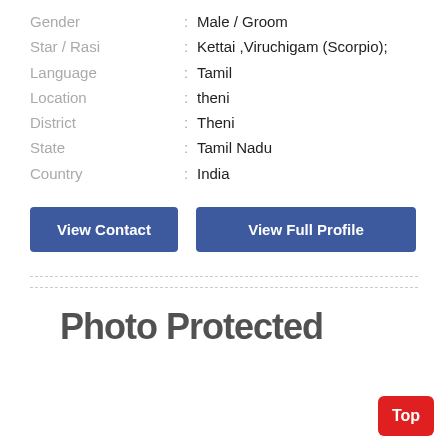Gender : Male / Groom
Star / Rasi : Kettai ,Viruchigam (Scorpio);
Language : Tamil
Location : theni
District : Theni
State : Tamil Nadu
Country : India
View Contact
View Full Profile
[Figure (other): Photo Protected watermark text]
Top